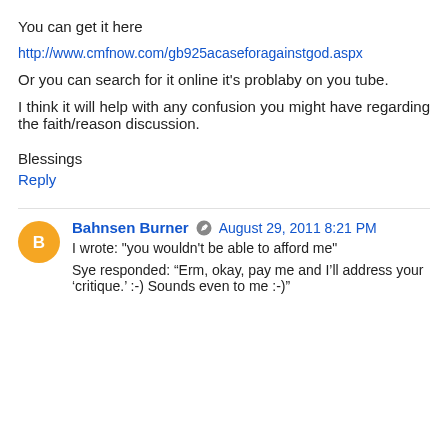You can get it here
http://www.cmfnow.com/gb925acaseforagainstgod.aspx
Or you can search for it online it's problaby on you tube.
I think it will help with any confusion you might have regarding the faith/reason discussion.
Blessings
Reply
Bahnsen Burner  August 29, 2011 8:21 PM
I wrote: "you wouldn't be able to afford me"
Sye responded: “Erm, okay, pay me and I'll address your 'critique.' :-) Sounds even to me :-)”